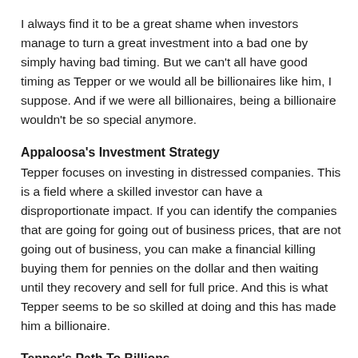I always find it to be a great shame when investors manage to turn a great investment into a bad one by simply having bad timing. But we can't all have good timing as Tepper or we would all be billionaires like him, I suppose. And if we were all billionaires, being a billionaire wouldn't be so special anymore.
Appaloosa's Investment Strategy
Tepper focuses on investing in distressed companies. This is a field where a skilled investor can have a disproportionate impact. If you can identify the companies that are going for going out of business prices, that are not going out of business, you can make a financial killing buying them for pennies on the dollar and then waiting until they recovery and sell for full price. And this is what Tepper seems to be so skilled at doing and this has made him a billionaire.
Tepper's Path To Billions
Tepper went to school at Carnegie Mellon. After graduation